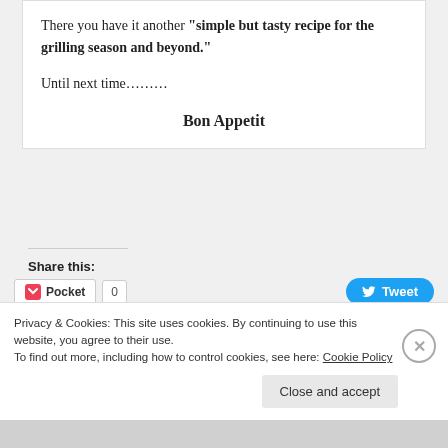There you have it another “simple but tasty recipe for the grilling season and beyond.”
Until next time……….
Bon Appetit
Share this:
[Figure (screenshot): Social share buttons: Pocket (0), Tweet, yummly, Email, Print, LinkedIn Share, Tumblr Post]
Privacy & Cookies: This site uses cookies. By continuing to use this website, you agree to their use. To find out more, including how to control cookies, see here: Cookie Policy
Close and accept